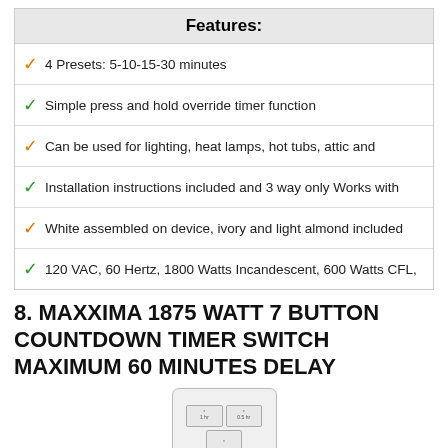| Features: |
| --- |
| ✓ 4 Presets: 5-10-15-30 minutes |
| ✓ Simple press and hold override timer function |
| ✓ Can be used for lighting, heat lamps, hot tubs, attic and |
| ✓ Installation instructions included and 3 way only Works with |
| ✓ White assembled on device, ivory and light almond included |
| ✓ 120 VAC, 60 Hertz, 1800 Watts Incandescent, 600 Watts CFL, |
8. MAXXIMA 1875 WATT 7 BUTTON COUNTDOWN TIMER SWITCH MAXIMUM 60 MINUTES DELAY
[Figure (photo): White wall timer switch device with 7 button layout in a grid pattern, showing various time preset labels on buttons]